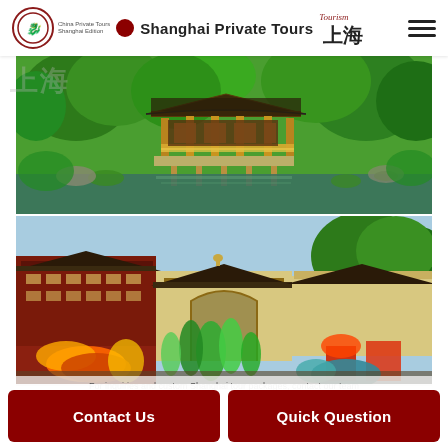Shanghai Private Tours
[Figure (photo): Traditional Chinese garden pavilion with curved roof surrounded by lush green trees, reflected in a pond below]
[Figure (photo): Yuyuan Garden area in Shanghai with traditional red-and-white multi-story buildings and colorful festival decorations/lanterns in the foreground]
Contact Us
Quick Question